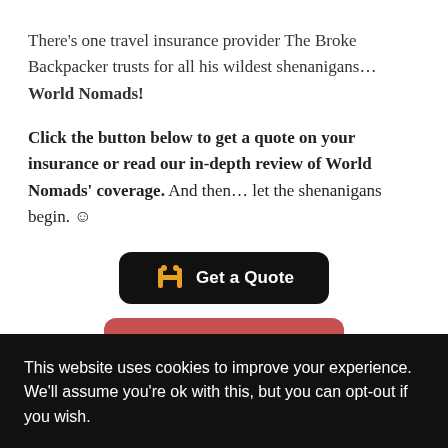There's one travel insurance provider The Broke Backpacker trusts for all his wildest shenanigans… World Nomads!
Click the button below to get a quote on your insurance or read our in-depth review of World Nomads' coverage. And then… let the shenanigans begin. ☺
[Figure (other): Black rounded button with World Nomads logo icon and text 'Get a Quote']
[Figure (other): Red rounded button with text 'Or Read Our Review!']
This website uses cookies to improve your experience. We'll assume you're ok with this, but you can opt-out if you wish.